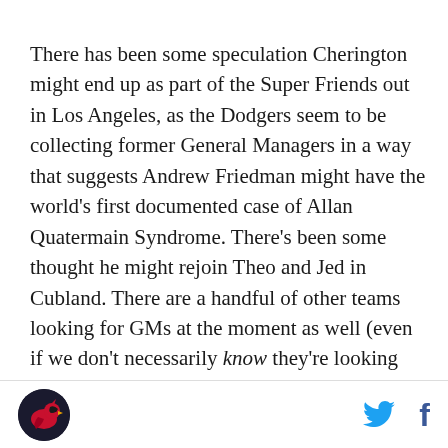There has been some speculation Cherington might end up as part of the Super Friends out in Los Angeles, as the Dodgers seem to be collecting former General Managers in a way that suggests Andrew Friedman might have the world's first documented case of Allan Quatermain Syndrome. There's been some thought he might rejoin Theo and Jed in Cubland. There are a handful of other teams looking for GMs at the moment as well (even if we don't necessarily know they're looking for General Managers), and Cherington's name has been bandied about for most of those, too. Milwaukee. Seattle. (Yeah, I know Jack Z is still there. The Mariners are on the GM market.) Maybe Miami, if Emperor Nero down there decides Dan Jennings is
[Figure (logo): Circular logo with a cardinal bird icon on dark background]